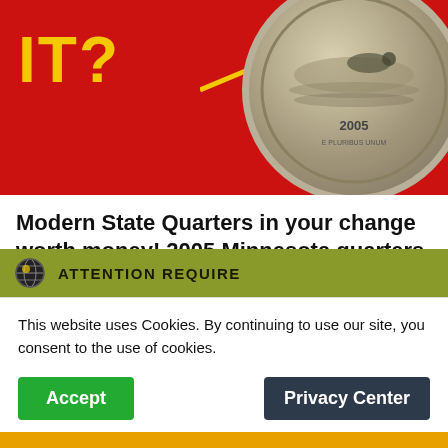[Figure (photo): Red background banner showing 'IT?' in bold yellow text with an arrow pointing to a 2005 Minnesota State Quarter coin]
Modern State Quarters in your change worth money! 2005 Minnesota quarters varieties to look for!
September 11, 2021 · by Coinsncollectible59 · 20 Comments.
We talk about modern 2005 Minnesota State Quarters worth money in your change. And valuable 2005
ATTENTION REQUIRE
This website uses Cookies. By continuing to use our site, you consent to the use of cookies.